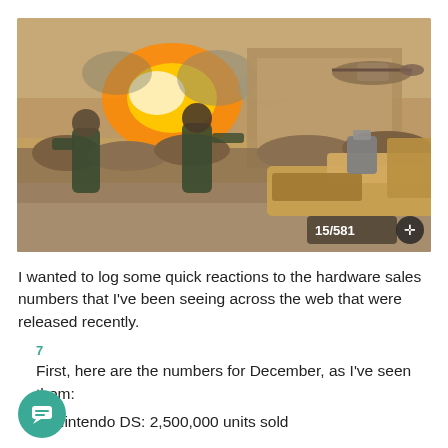[Figure (screenshot): First-person shooter video game screenshot showing soldiers in combat with explosions, sandbags, and a helicopter in the background. HUD shows 15/581 ammo count in bottom right.]
I wanted to log some quick reactions to the hardware sales numbers that I've been seeing across the web that were released recently.
7
First, here are the numbers for December, as I've seen them:
1. Nintendo DS: 2,500,000 units sold